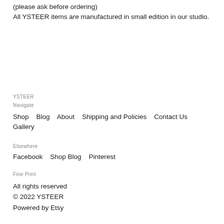(please ask before ordering)
All YSTEER items are manufactured in small edition in our studio.
YSTEER
Navigate
Shop   Blog   About   Shipping and Policies   Contact Us   Gallery
Elsewhere
Facebook   Shop Blog   Pinterest
Fine Print
All rights reserved
© 2022 YSTEER
Powered by Etsy